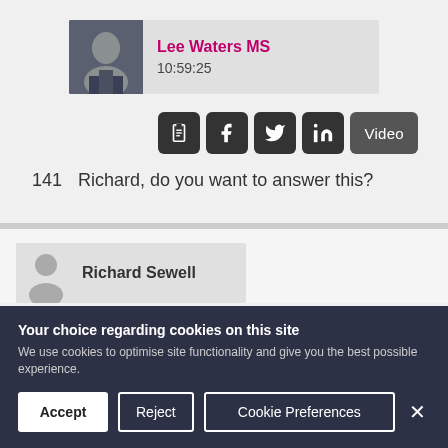[Figure (photo): Headshot of Lee Waters MS, a man in a dark suit]
Lee Waters MS
10:59:25
[Figure (infographic): Row of dark social/action icon buttons: clipboard, Facebook, Twitter, LinkedIn, and a Video button]
141  Richard, do you want to answer this?
[Figure (illustration): Grey silhouette placeholder avatar for Richard Sewell]
Richard Sewell
Your choice regarding cookies on this site
We use cookies to optimise site functionality and give you the best possible experience.
Accept
Reject
Cookie Preferences